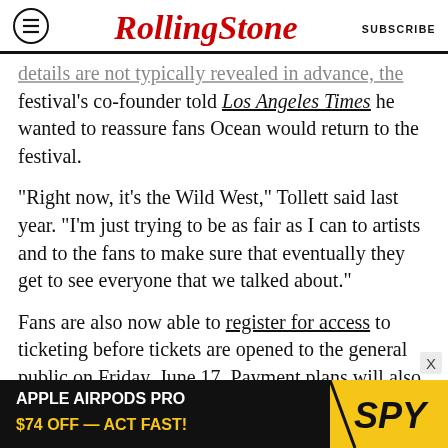RollingStone | SUBSCRIBE
details are not typically revealed in advance, the festival's co-founder told Los Angeles Times he wanted to reassure fans Ocean would return to the festival.
“Right now, it’s the Wild West,” Tollett said last year. “I’m just trying to be as fair as I can to artists and to the fans to make sure that eventually they get to see everyone that we talked about.”
Fans are also now able to register for access to ticketing before tickets are opened to the general public on Friday, June 17. Payment plans will also be available for those who need them. Tickets wil
[Figure (advertisement): Apple AirPods Pro $74 OFF — ACT FAST! advertisement with SPY logo in yellow/black]